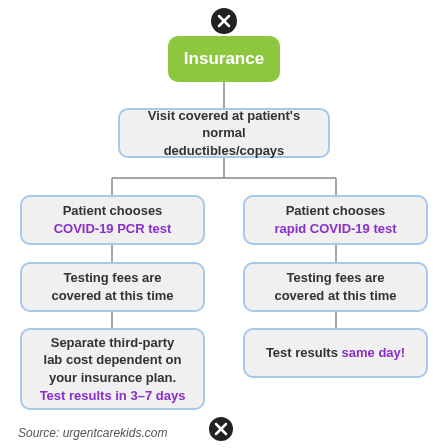[Figure (flowchart): Insurance payment flowchart showing two paths: COVID-19 PCR test (testing fees covered, separate third-party lab cost, results in 3-7 days) and rapid COVID-19 test (testing fees covered, results same day). Top node is 'Insurance' leading to 'Visit covered at patient's normal deductibles/copays', then splitting into two branches.]
Source: urgentcarekids.com